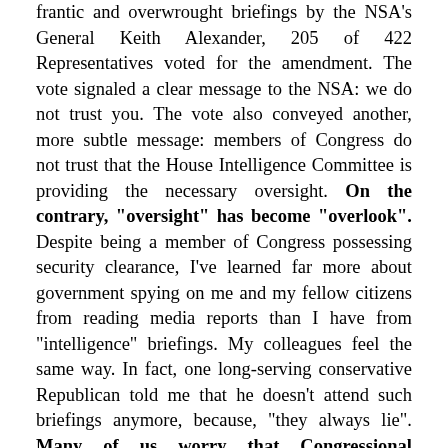frantic and overwrought briefings by the NSA's General Keith Alexander, 205 of 422 Representatives voted for the amendment. The vote signaled a clear message to the NSA: we do not trust you. The vote also conveyed another, more subtle message: members of Congress do not trust that the House Intelligence Committee is providing the necessary oversight. On the contrary, "oversight" has become "overlook". Despite being a member of Congress possessing security clearance, I've learned far more about government spying on me and my fellow citizens from reading media reports than I have from "intelligence" briefings. My colleagues feel the same way. In fact, one long-serving conservative Republican told me that he doesn't attend such briefings anymore, because, "they always lie". Many of us worry that Congressional Intelligence Committees are more loyal to the "intelligence community" that they are tasked with policing, than to the Constitution. And the House Intelligence Committee isn't doing anything to assuage our concerns. Supporters of the NSA's vast ubiquitous domestic spying operation assure the public that members of Congress can be briefed on these activities whenever they want. Senator Saxby Chambliss says all a member of Congress needs to do is ask for information, and